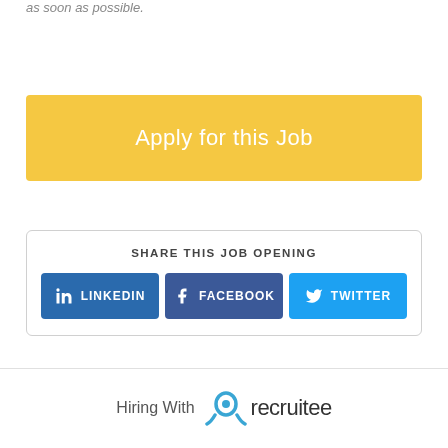as soon as possible.
Apply for this Job
SHARE THIS JOB OPENING
LINKEDIN
FACEBOOK
TWITTER
Hiring With recruitee